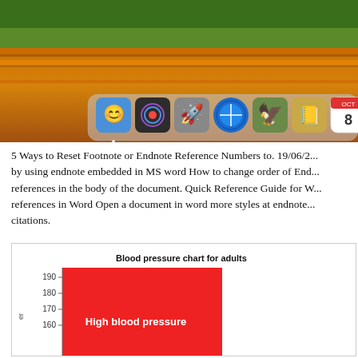[Figure (screenshot): macOS desktop screenshot showing dock with Finder, Siri, Launchpad, Safari, Mail/Eagle, Contacts, Calendar (Oct 8), Notes, and Reminders icons, with autumn landscape wallpaper.]
5 Ways to Reset Footnote or Endnote Reference Numbers to. 19/06/2... by using endnote embedded in MS word How to change order of End... references in the body of the document. Quick Reference Guide for W... references in Word Open a document in word more styles at endnote... citations.
[Figure (bar-chart): Blood pressure chart for adults showing y-axis values 160, 170, 180, 190 with a red bar labeled 'High blood pressure']